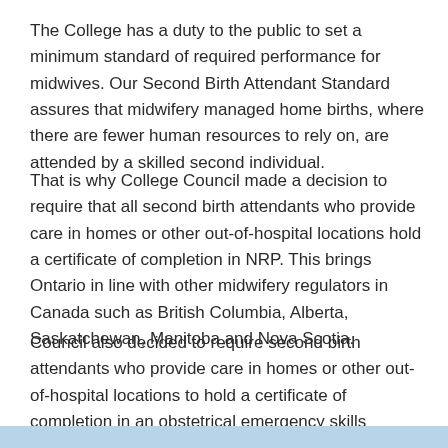The College has a duty to the public to set a minimum standard of required performance for midwives. Our Second Birth Attendant Standard assures that midwifery managed home births, where there are fewer human resources to rely on, are attended by a skilled second individual.
That is why College Council made a decision to require that all second birth attendants who provide care in homes or other out-of-hospital locations hold a certificate of completion in NRP. This brings Ontario in line with other midwifery regulators in Canada such as British Columbia, Alberta, Saskatchewan, Manitoba and Nova Scotia.
Council also decided to require second birth attendants who provide care in homes or other out-of-hospital locations to hold a certificate of completion in an obstetrical emergency skills program.  The revised standard requiring all second birth attendants hold certificates of completion is the College's way of